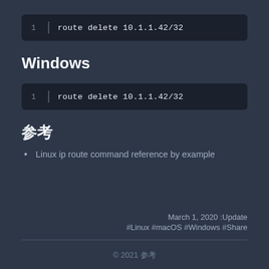route delete 10.1.1.42/32
Windows
route delete 10.1.1.42/32
参考
Linux ip route command reference by example
March 1, 2020 :Update
#Linux #macOS #Windows #Share
© 2021 参考